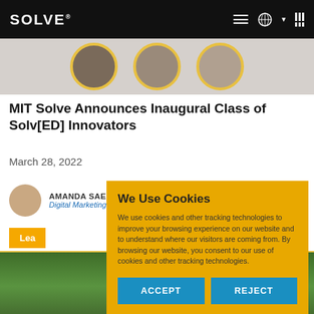SOLVE® | MIT
[Figure (photo): Row of three circular profile photos with gold borders against a light background]
MIT Solve Announces Inaugural Class of Solv[ED] Innovators
March 28, 2022
AMANDA SAEH — Digital Marketing Officer at MIT Solve
Learn more
[Figure (photo): Bottom landscape photo showing green trees]
We Use Cookies
We use cookies and other tracking technologies to improve your browsing experience on our website and to understand where our visitors are coming from. By browsing our website, you consent to our use of cookies and other tracking technologies.
ACCEPT
REJECT